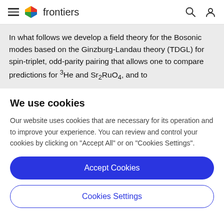frontiers
In what follows we develop a field theory for the Bosonic modes based on the Ginzburg-Landau theory (TDGL) for spin-triplet, odd-parity pairing that allows one to compare predictions for ³He and Sr₂RuO₄, and to
We use cookies
Our website uses cookies that are necessary for its operation and to improve your experience. You can review and control your cookies by clicking on "Accept All" or on "Cookies Settings".
Accept Cookies
Cookies Settings